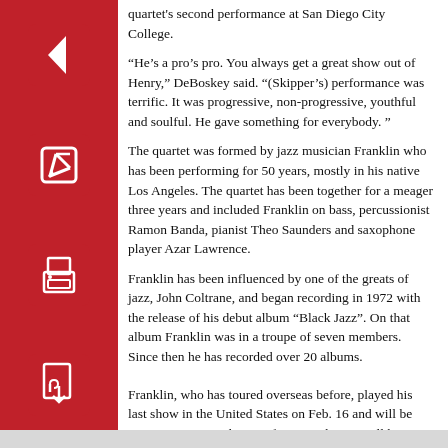quartet's second performance at San Diego City College.
“He’s a pro’s pro. You always get a great show out of Henry,” DeBoskey said. “(Skipper’s) performance was terrific. It was progressive, non-progressive, youthful and soulful. He gave something for everybody. ”
The quartet was formed by jazz musician Franklin who has been performing for 50 years, mostly in his native Los Angeles. The quartet has been together for a meager three years and included Franklin on bass, percussionist Ramon Banda, pianist Theo Saunders and saxophone player Azar Lawrence.
Franklin has been influenced by one of the greats of jazz, John Coltrane, and began recording in 1972 with the release of his debut album “Black Jazz”. On that album Franklin was in a troupe of seven members. Since then he has recorded over 20 albums.
Franklin, who has toured overseas before, played his last show in the United States on Feb. 16 and will be touring Asia over the next four months. He will be playing in the former Communist country of China, a country that is just beginning to sample jazz music, and Japan.